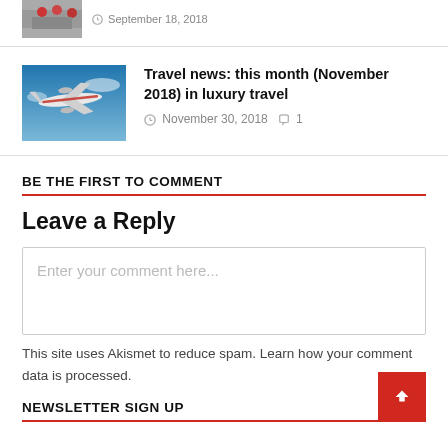[Figure (photo): Partial thumbnail image of people, cropped at top of page]
September 18, 2018
[Figure (photo): Air France airplane in flight against blue sky]
Travel news: this month (November 2018) in luxury travel
November 30, 2018  1
BE THE FIRST TO COMMENT
Leave a Reply
Enter your comment here...
This site uses Akismet to reduce spam. Learn how your comment data is processed.
NEWSLETTER SIGN UP